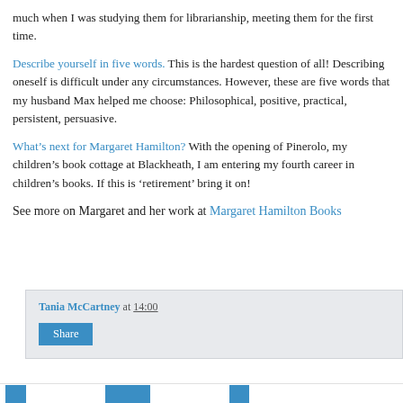much when I was studying them for librarianship, meeting them for the first time.
Describe yourself in five words. This is the hardest question of all! Describing oneself is difficult under any circumstances. However, these are five words that my husband Max helped me choose: Philosophical, positive, practical, persistent, persuasive.
What’s next for Margaret Hamilton? With the opening of Pinerolo, my children’s book cottage at Blackheath, I am entering my fourth career in children’s books. If this is ‘retirement’ bring it on!
See more on Margaret and her work at Margaret Hamilton Books
Tania McCartney at 14:00
Share